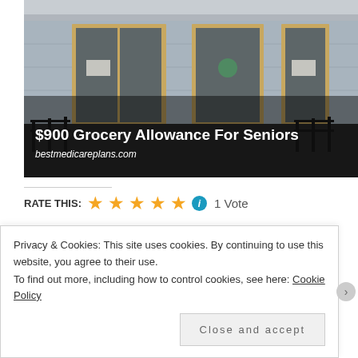[Figure (photo): Exterior storefront with glass doors and ramp. Overlay text: '$900 Grocery Allowance For Seniors' and 'bestmedicareplans.com']
RATE THIS: ★★★★★ ℹ 1 Vote
SHARE THIS:
Privacy & Cookies: This site uses cookies. By continuing to use this website, you agree to their use.
To find out more, including how to control cookies, see here: Cookie Policy
Close and accept